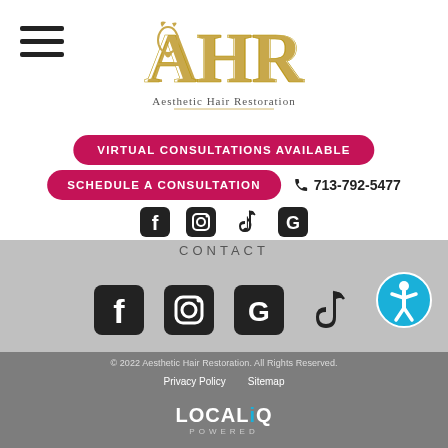[Figure (logo): AHR Aesthetic Hair Restoration logo in gold and black]
[Figure (infographic): Hamburger menu icon (three horizontal lines)]
VIRTUAL CONSULTATIONS AVAILABLE
SCHEDULE A CONSULTATION
713-792-5477
[Figure (infographic): Social media icons: Facebook, Instagram, TikTok, Google]
CONTACT
[Figure (infographic): Social media icons (larger): Facebook, Instagram, Google, TikTok]
[Figure (infographic): Accessibility icon (blue circle with person symbol)]
© 2022 Aesthetic Hair Restoration. All Rights Reserved.
Privacy Policy    Sitemap
[Figure (logo): LOCALiQ POWERED logo in white]